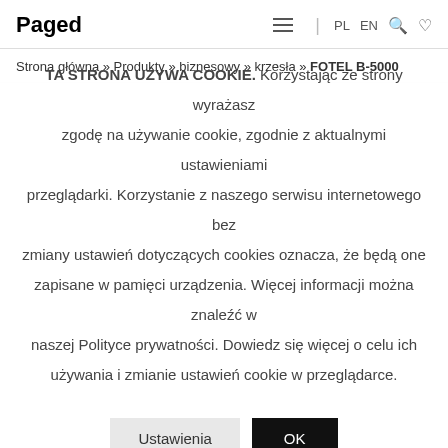Paged | PL EN
Strona główna » Produkty » biznesowy » krzesła » FOTEL B-5000
TA STRONA UŻYWA COOKIE. Korzystając ze strony wyrażasz zgodę na używanie cookie, zgodnie z aktualnymi ustawieniami przeglądarki. Korzystanie z naszego serwisu internetowego bez zmiany ustawień dotyczących cookies oznacza, że będą one zapisane w pamięci urządzenia. Więcej informacji można znaleźć w naszej Polityce prywatności. Dowiedz się więcej o celu ich używania i zmianie ustawień cookie w przeglądarce.